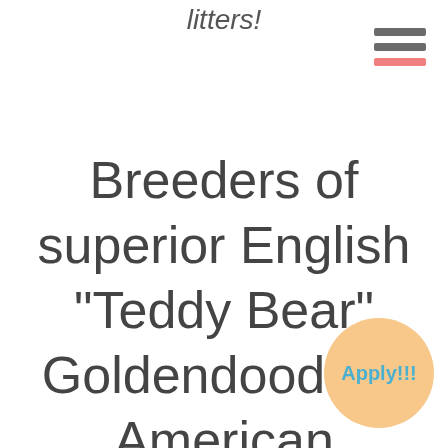litters!
Breeders of superior English "Teddy Bear" Goldendoodles, American Goldendoodles, Bernedoodles an
[Figure (other): Orange circular button with bold teal text reading 'Apply!!!']